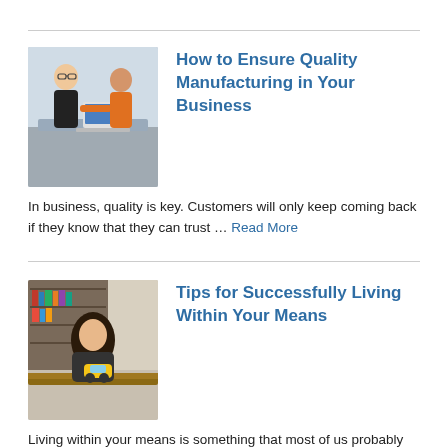[Figure (photo): Two people at a workbench, one in a dark top and one in an orange top, working with a laptop in a manufacturing/workshop setting.]
How to Ensure Quality Manufacturing in Your Business
In business, quality is key. Customers will only keep coming back if they know that they can trust … Read More
[Figure (photo): A young woman with long dark hair sitting at a wooden table, looking down at a small toy vehicle, in a cozy room with bookshelves in the background.]
Tips for Successfully Living Within Your Means
Living within your means is something that most of us probably think we're doing, but it's not until … Read More